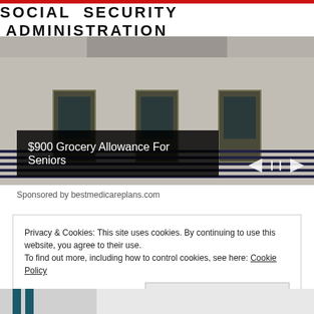[Figure (photo): Photograph of a Social Security Administration office building exterior, showing the SSA sign banner across the top, building facade with doors, metal railings, and a navigation arrow overlay]
$900 Grocery Allowance For Seniors
Sponsored by bestmedicareplans.com
Privacy & Cookies: This site uses cookies. By continuing to use this website, you agree to their use.
To find out more, including how to control cookies, see here: Cookie Policy
Close and accept
[Figure (photo): Partial bottom strip of another image showing what appears to be feet/legs]